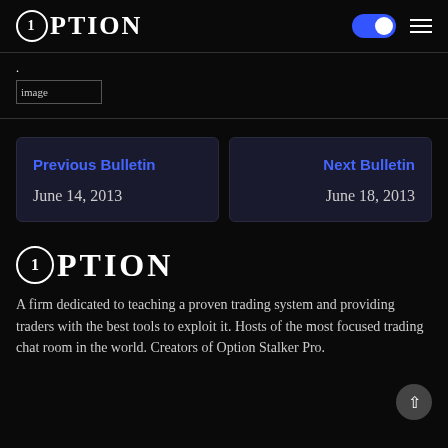1OPTION
[Figure (other): Broken image placeholder labeled 'image']
Previous Bulletin
June 14, 2013
Next Bulletin
June 18, 2013
1OPTION
A firm dedicated to teaching a proven trading system and providing traders with the best tools to exploit it. Hosts of the most focused trading chat room in the world. Creators of Option Stalker Pro.